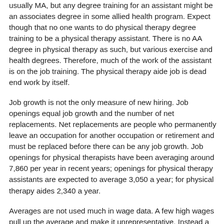usually MA, but any degree training for an assistant might be an associates degree in some allied health program. Expect though that no one wants to do physical therapy degree training to be a physical therapy assistant. There is no AA degree in physical therapy as such, but various exercise and health degrees. Therefore, much of the work of the assistant is on the job training. The physical therapy aide job is dead end work by itself.
Job growth is not the only measure of new hiring. Job openings equal job growth and the number of net replacements. Net replacements are people who permanently leave an occupation for another occupation or retirement and must be replaced before there can be any job growth. Job openings for physical therapists have been averaging around 7,860 per year in recent years; openings for physical therapy assistants are expected to average 3,050 a year; for physical therapy aides 2,340 a year.
Averages are not used much in wage data. A few high wages pull up the average and make it unrepresentative. Instead a distribution range of wages is published with the 10th, 25th,